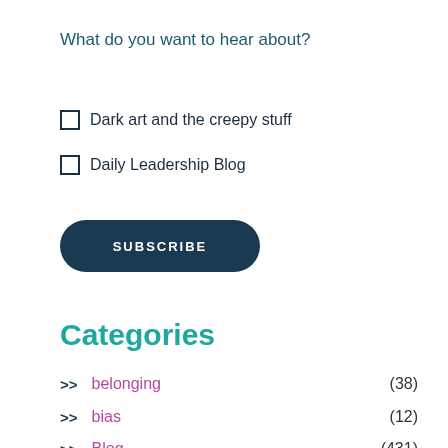What do you want to hear about?
Dark art and the creepy stuff
Daily Leadership Blog
[Figure (other): SUBSCRIBE button, dark navy rounded pill shape]
Categories
>> belonging (38)
>> bias (12)
>> Blog (431)